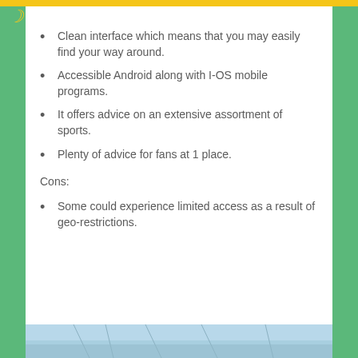Clean interface which means that you may easily find your way around.
Accessible Android along with I-OS mobile programs.
It offers advice on an extensive assortment of sports.
Plenty of advice for fans at 1 place.
Cons:
Some could experience limited access as a result of geo-restrictions.
[Figure (photo): A partial image visible at the bottom of the page, appears to show an outdoor/sky scene]